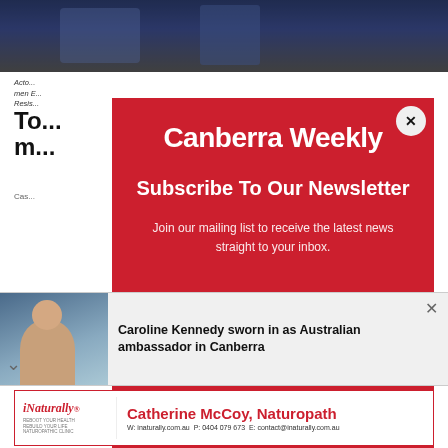[Figure (photo): Top banner photo showing people at what appears to be a political or formal event, dark blue/navy background]
Actor... men E... Resis...
To... m...
Cas...
[Figure (other): Red modal overlay with Canberra Weekly newsletter subscription popup]
Canberra Weekly
Subscribe To Our Newsletter
Join our mailing list to receive the latest news straight to your inbox.
Austr... e
[Figure (photo): Caroline Kennedy notification banner with photo]
Caroline Kennedy sworn in as Australian ambassador in Canberra
[Figure (logo): iNaturally advertisement - Catherine McCoy Naturopath]
Catherine McCoy, Naturopath W: inaturally.com.au  P: 0404 079 673  E: contact@inaturally.com.au